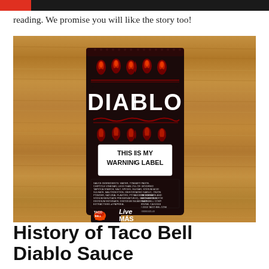reading. We promise you will like the story too!
[Figure (photo): A Taco Bell Diablo hot sauce packet lying on a wooden surface. The black packet features red flame patterns and reads 'DIABLO' at the top and 'THIS IS MY WARNING LABEL' on a white label in the middle. The Taco Bell logo and 'Live MÁS' text appear at the bottom of the packet.]
History of Taco Bell Diablo Sauce